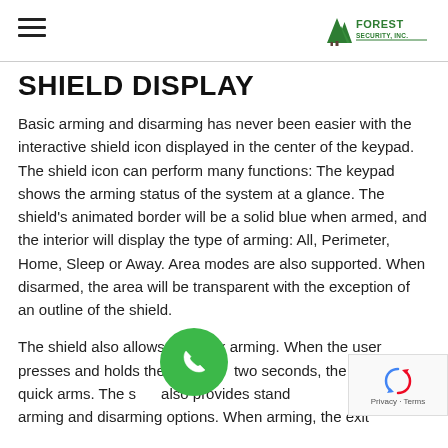Forest Security, Inc. — navigation header with hamburger menu and logo
SHIELD DISPLAY
Basic arming and disarming has never been easier with the interactive shield icon displayed in the center of the keypad. The shield icon can perform many functions: The keypad shows the arming status of the system at a glance. The shield's animated border will be a solid blue when armed, and the interior will display the type of arming: All, Perimeter, Home, Sleep or Away. Area modes are also supported. When disarmed, the area will be transparent with the exception of an outline of the shield.
The shield also allows for quick arming. When the user presses and holds the shield two seconds, the system quick arms. The shield also provides standard arming and disarming options. When arming, the exit